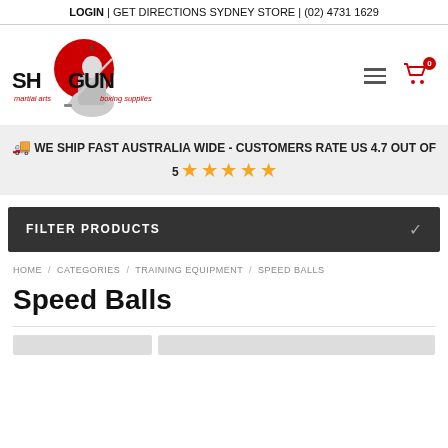LOGIN | GET DIRECTIONS SYDNEY STORE | (02) 4731 1629
[Figure (logo): Shogun martial arts boxing supplies logo with samurai warrior figure and red circle]
WE SHIP FAST AUSTRALIA WIDE - CUSTOMERS RATE US 4.7 OUT OF 5 ★★★★★
FILTER PRODUCTS
HOME / CATEGORIES / TRAINING EQUIPMENT / SPEED BALLS
Speed Balls